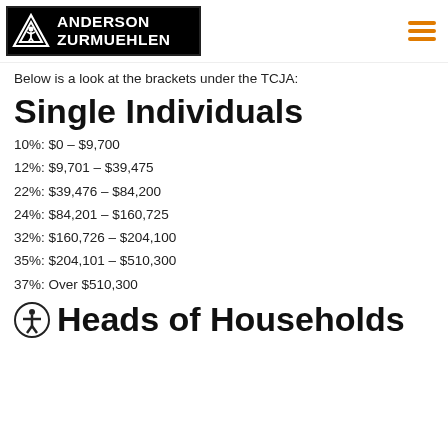Anderson Zurmuehlen
Below is a look at the brackets under the TCJA:
Single Individuals
10%: $0 – $9,700
12%: $9,701 – $39,475
22%: $39,476 – $84,200
24%: $84,201 – $160,725
32%: $160,726 – $204,100
35%: $204,101 – $510,300
37%: Over $510,300
Heads of Households